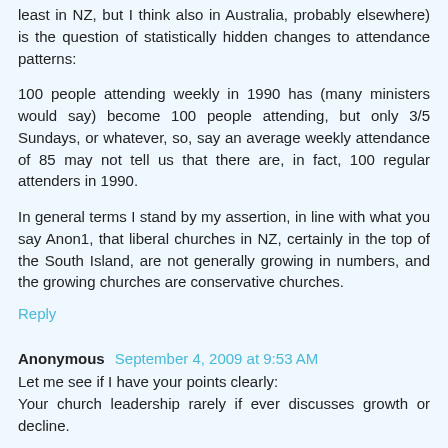least in NZ, but I think also in Australia, probably elsewhere) is the question of statistically hidden changes to attendance patterns:
100 people attending weekly in 1990 has (many ministers would say) become 100 people attending, but only 3/5 Sundays, or whatever, so, say an average weekly attendance of 85 may not tell us that there are, in fact, 100 regular attenders in 1990.
In general terms I stand by my assertion, in line with what you say Anon1, that liberal churches in NZ, certainly in the top of the South Island, are not generally growing in numbers, and the growing churches are conservative churches.
Reply
Anonymous September 4, 2009 at 9:53 AM
Let me see if I have your points clearly:
Your church leadership rarely if ever discusses growth or decline.